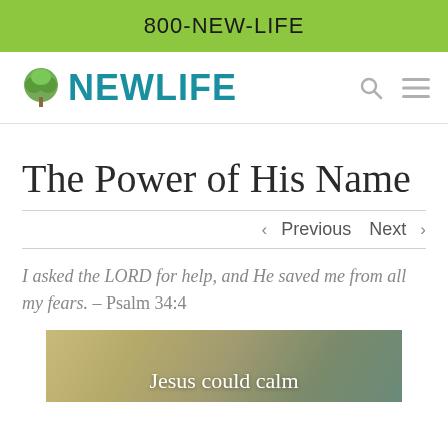800-NEW-LIFE
[Figure (logo): NewLife logo with green tree icon and teal NEWLIFE text]
The Power of His Name
< Previous   Next >
I asked the LORD for help, and He saved me from all my fears. – Psalm 34:4
[Figure (photo): Image with text 'Jesus could calm']